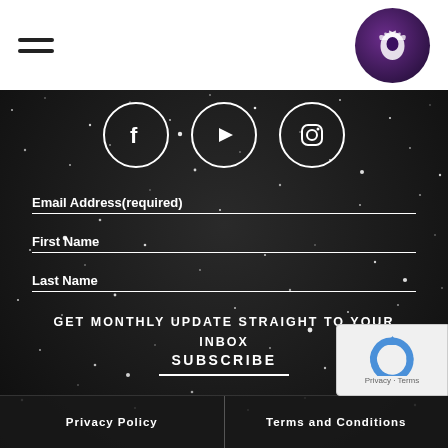Navigation bar with hamburger menu and logo
[Figure (illustration): Social media icons: Facebook, YouTube, Instagram in white circles on dark starfield background]
Email Address(required)
First Name
Last Name
SUBSCRIBE
GET MONTHLY UPDATE STRAIGHT TO YOUR INBOX
Privacy Policy | Terms and Conditions